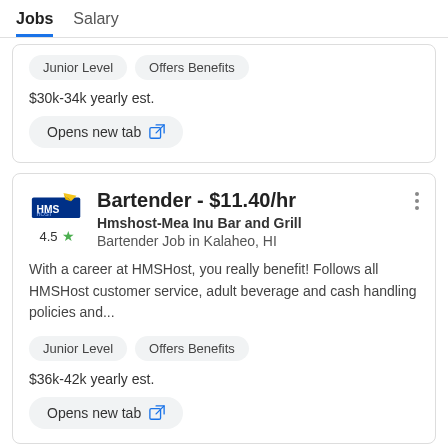Jobs   Salary
Junior Level   Offers Benefits
$30k-34k yearly est.
Opens new tab
Bartender - $11.40/hr
Hmshost-Mea Inu Bar and Grill
Bartender Job in Kalaheo, HI
With a career at HMSHost, you really benefit! Follows all HMSHost customer service, adult beverage and cash handling policies and...
Junior Level   Offers Benefits
$36k-42k yearly est.
Opens new tab